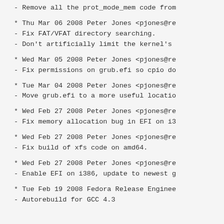- Remove all the prot_mode_mem code from
* Thu Mar 06 2008 Peter Jones <pjones@re
- Fix FAT/VFAT directory searching.
- Don't artificially limit the kernel's
* Wed Mar 05 2008 Peter Jones <pjones@re
- Fix permissions on grub.efi so cpio do
* Tue Mar 04 2008 Peter Jones <pjones@re
- Move grub.efi to a more useful locatio
* Wed Feb 27 2008 Peter Jones <pjones@re
- Fix memory allocation bug in EFI on i3
* Wed Feb 27 2008 Peter Jones <pjones@re
- Fix build of xfs code on amd64.
* Wed Feb 27 2008 Peter Jones <pjones@re
- Enable EFI on i386, update to newest g
* Tue Feb 19 2008 Fedora Release Enginee
- Autorebuild for GCC 4.3